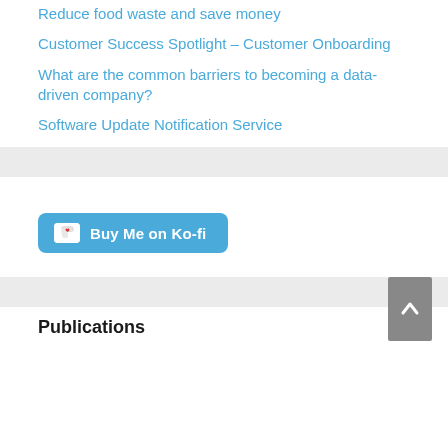Reduce food waste and save money
Customer Success Spotlight – Customer Onboarding
What are the common barriers to becoming a data-driven company?
Software Update Notification Service
[Figure (other): Buy Me on Ko-fi button with coffee cup icon]
Publications